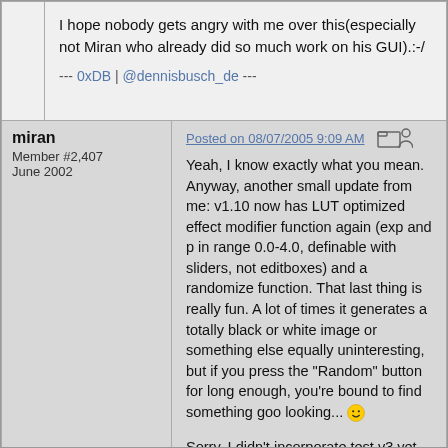I hope nobody gets angry with me over this(especially not Miran who already did so much work on his GUI).:-/
--- 0xDB | @dennisbusch_de ---
miran
Member #2,407
June 2002
Posted on 08/07/2005 9:09 AM
Yeah, I know exactly what you mean. Anyway, another small update from me: v1.10 now has LUT optimized effect modifier function again (exp and p in range 0.0-4.0, definable with sliders, not editboxes) and a randomize function. That last thing is really fun. A lot of times it generates a totally black or white image or something else equally uninteresting, but if you press the "Random" button for long enough, you're bound to find something goo looking... :)
Sorry, I didn't incorporate test v3 yet :(
--
sig used to be here